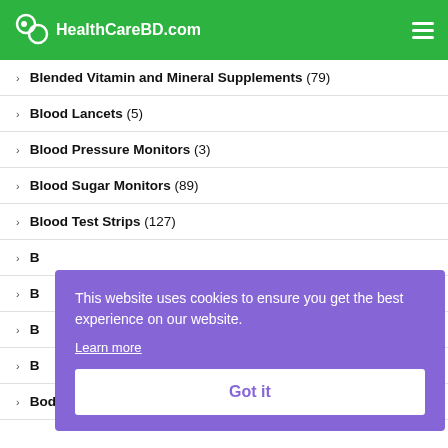HealthCareBD.com
Blended Vitamin and Mineral Supplements (79)
Blood Lancets (5)
Blood Pressure Monitors (3)
Blood Sugar Monitors (89)
Blood Test Strips (127)
B...
B...
B...
B...
Body Mud (13)
This website uses cookies to ensure you get the best experience on our website. Learn more Got it